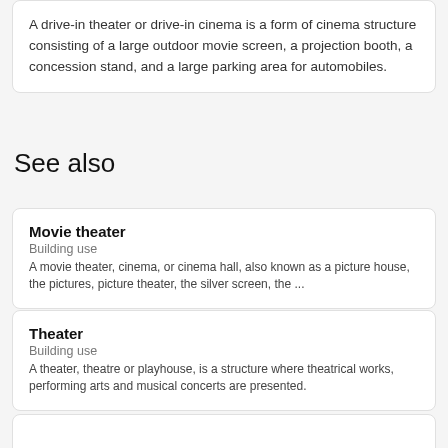A drive-in theater or drive-in cinema is a form of cinema structure consisting of a large outdoor movie screen, a projection booth, a concession stand, and a large parking area for automobiles.
See also
Movie theater
Building use
A movie theater, cinema, or cinema hall, also known as a picture house, the pictures, picture theater, the silver screen, the ...
Theater
Building use
A theater, theatre or playhouse, is a structure where theatrical works, performing arts and musical concerts are presented.